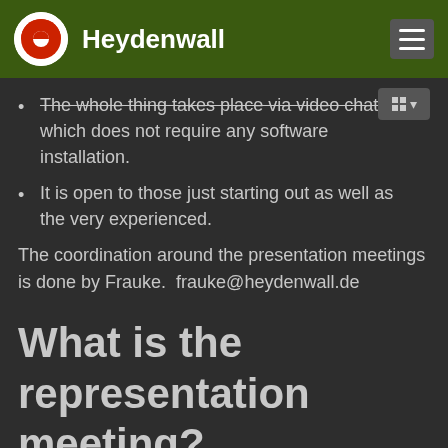Heydenwall
The whole thing takes place via video chat which does not require any software installation.
It is open to those just starting out as well as the very experienced.
The coordination around the presentation meetings is done by Frauke.  frauke@heydenwall.de
What is the representation meeting?
The representation meeting is a regular online meeting where we discuss representation together. It is first and foremost a meeting where we explore